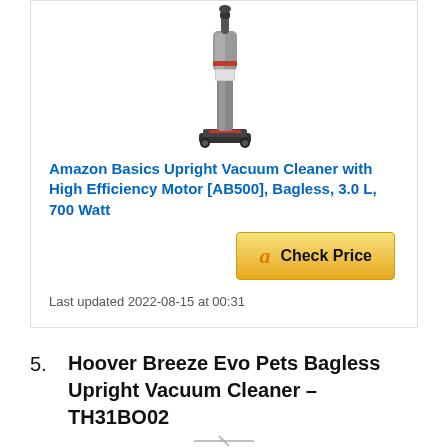[Figure (photo): Upright bagless vacuum cleaner (Amazon Basics AB500) shown against white background]
Amazon Basics Upright Vacuum Cleaner with High Efficiency Motor [AB500], Bagless, 3.0 L, 700 Watt
[Figure (logo): Amazon 'a' logo button with 'Check Price' text in a gold/yellow rounded rectangle button]
Last updated 2022-08-15 at 00:31
5. Hoover Breeze Evo Pets Bagless Upright Vacuum Cleaner – TH31BO02